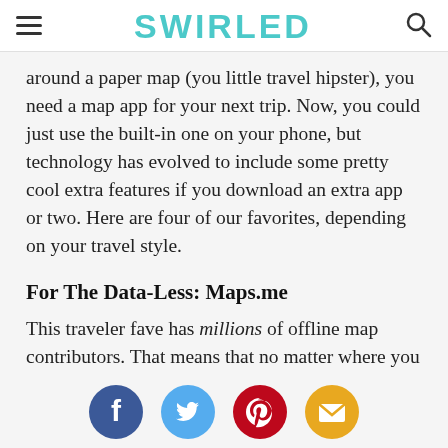SWIRLED
around a paper map (you little travel hipster), you need a map app for your next trip. Now, you could just use the built-in one on your phone, but technology has evolved to include some pretty cool extra features if you download an extra app or two. Here are four of our favorites, depending on your travel style.
For The Data-Less: Maps.me
This traveler fave has millions of offline map contributors. That means that no matter where you go, you can find your way. It gets its info from
[Figure (infographic): Social sharing icons: Facebook (blue circle), Twitter (light blue circle), Pinterest (red circle), Email (orange/amber circle)]